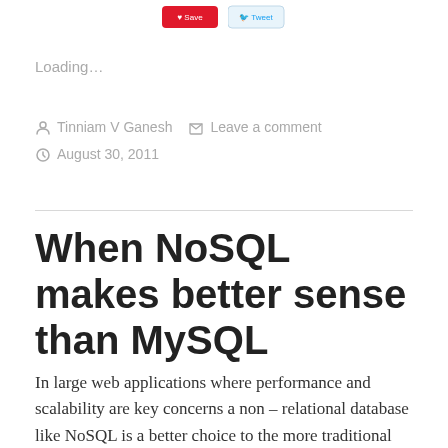[Figure (other): Social share buttons: red button and blue twitter button at top]
Loading...
Tinniam V Ganesh   Leave a comment   August 30, 2011
When NoSQL makes better sense than MySQL
In large web applications where performance and scalability are key concerns a non – relational database like NoSQL is a better choice to the more traditional databases like